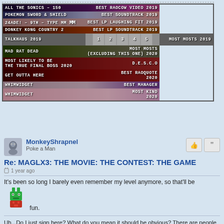[Figure (screenshot): Award banner table showing various Raocow video awards for 2019 and 2020, including categories like Best Raocow Video, Best Soundtrack, Best LP Laughing Fit, Best LP Soundtrack, Most Mosts, Most Likely to be the True Final Boss, Best Raoquote, Best Manager, Most Kind]
MonkeyShrapnel
Poke a Man
Re: MAGLX3: THE MOVIE: THE CONTEST: THE GAME
1 year ago
It's been so long I barely even remember my level anymore, so that'll be fun.
Uh...Do I just sign here? What do you mean it should be obvious? There are people in this world...well...a whole lot of people that can't follow basic instructions!